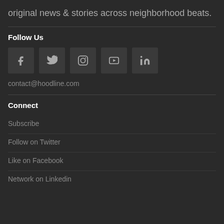original news & stories across neighborhood beats.
Follow Us
[Figure (other): Social media icons: Facebook, Twitter, Instagram, YouTube, LinkedIn]
contact@hoodline.com
Connect
Subscribe
Follow on Twitter
Like on Facebook
Network on Linkedin